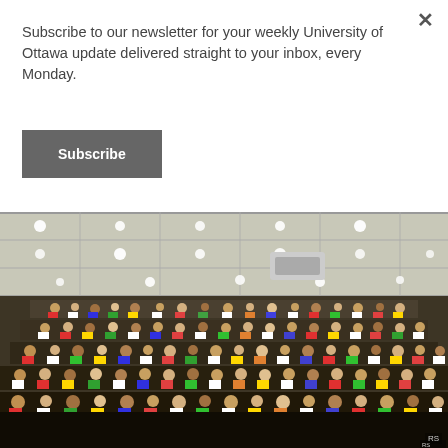Subscribe to our newsletter for your weekly University of Ottawa update delivered straight to your inbox, every Monday.
Subscribe
[Figure (photo): A large lecture hall filled with hundreds of students sitting in tiered seating. The ceiling has recessed lighting panels. The walls are wood-paneled. The room is packed with an audience in colorful clothing.]